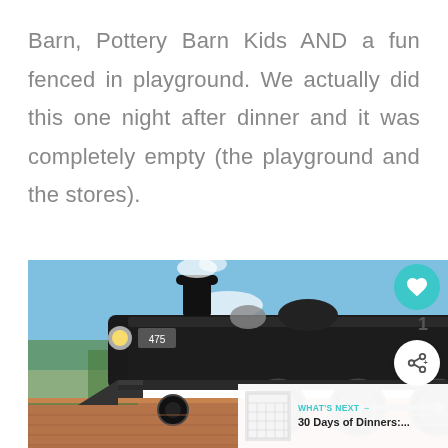Barn, Pottery Barn Kids AND a fun fenced in playground. We actually did this one night after dinner and it was completely empty (the playground and the stores).
[Figure (photo): A large black steam locomotive (numbered 475) at a train station platform, photographed from a low angle. A small child in a pink dress stands on the brick platform looking up at the train. Blue sky with clouds visible in background. Red freight car visible on right. UI overlay elements visible: teal heart/like button with count of 1, share button, and a 'WHAT'S NEXT' callout showing '30 Days of Dinners:...']